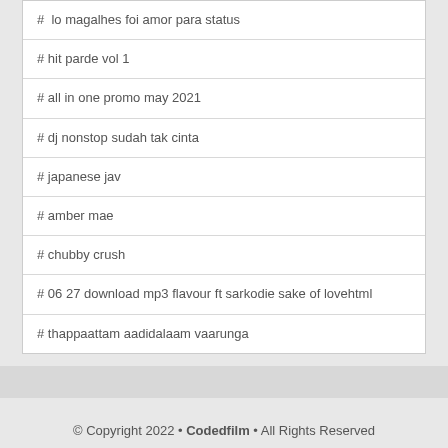# lo magalhes foi amor para status
# hit parde vol 1
# all in one promo may 2021
# dj nonstop sudah tak cinta
# japanese jav
# amber mae
# chubby crush
# 06 27 download mp3 flavour ft sarkodie sake of lovehtml
# thappaattam aadidalaam vaarunga
© Copyright 2022 • Codedfilm • All Rights Reserved